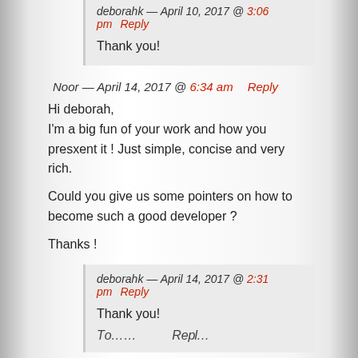deborahk — April 10, 2017 @ 3:06 pm    Reply
Thank you!
Noor — April 14, 2017 @ 6:34 am    Reply
Hi deborah,
I'm a big fun of your work and how you presxent it ! Just simple, concise and very rich.

Could you give us some pointers on how to become such a good developer ?

Thanks !
deborahk — April 14, 2017 @ 2:31 pm    Reply
Thank you!
To…   Repl…